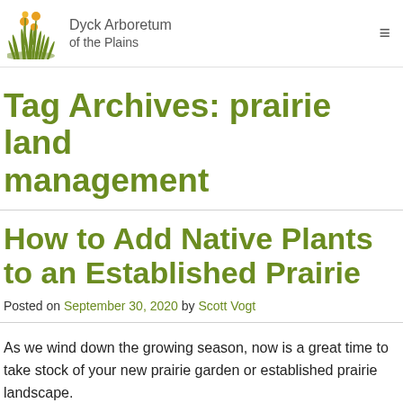[Figure (logo): Dyck Arboretum of the Plains logo with grass and yellow flower illustration]
Dyck Arboretum of the Plains
Tag Archives: prairie land management
How to Add Native Plants to an Established Prairie
Posted on September 30, 2020 by Scott Vogt
As we wind down the growing season, now is a great time to take stock of your new prairie garden or established prairie landscape.